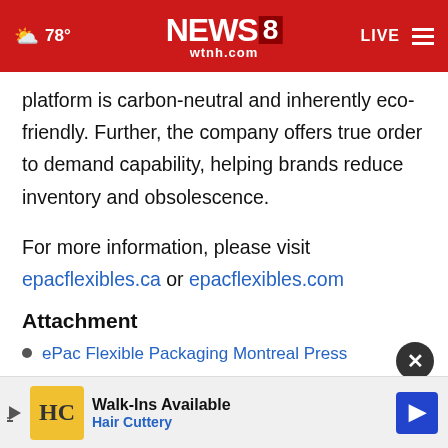NEWS 8 wtnh.com — 78° LIVE
platform is carbon-neutral and inherently eco-friendly. Further, the company offers true order to demand capability, helping brands reduce inventory and obsolescence.
For more information, please visit epacflexibles.ca or epacflexibles.com
Attachment
ePac Flexible Packaging Montreal Press
[Figure (other): Hair Cuttery advertisement banner: Walk-Ins Available, Hair Cuttery]